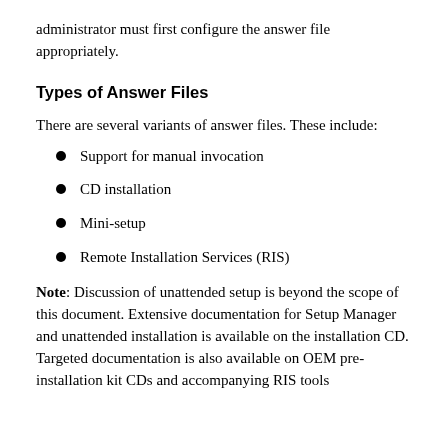administrator must first configure the answer file appropriately.
Types of Answer Files
There are several variants of answer files. These include:
Support for manual invocation
CD installation
Mini-setup
Remote Installation Services (RIS)
Note: Discussion of unattended setup is beyond the scope of this document. Extensive documentation for Setup Manager and unattended installation is available on the installation CD. Targeted documentation is also available on OEM pre-installation kit CDs and accompanying RIS tools